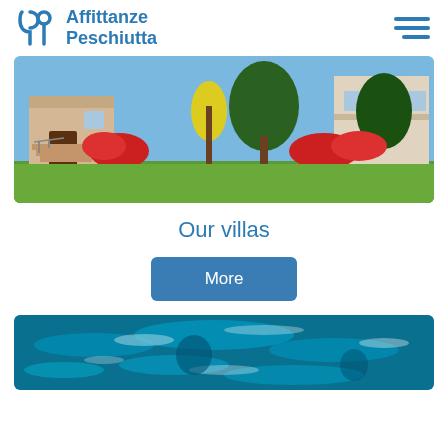Affittanze Peschiutta
[Figure (photo): Exterior view of a villa with brick stairs, flower garden with red and yellow flowers, palm tree and pine tree, sunny day]
Our villas
More
[Figure (photo): Swimming pool with turquoise blue water, underwater view with ripple patterns]